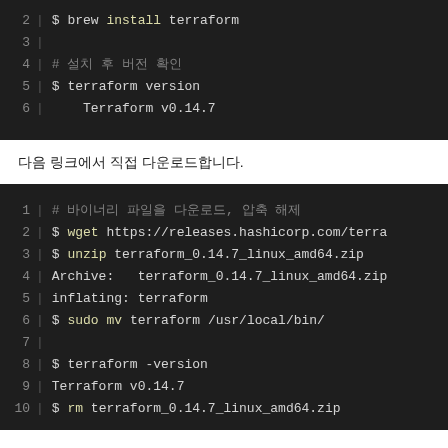[Figure (screenshot): Code block showing brew install terraform command and version check, lines 2-6]
다음 링크에서 직접 다운로드합니다.
[Figure (screenshot): Code block showing wget, unzip, sudo mv, terraform -version, and rm commands for Linux install, lines 1-10]